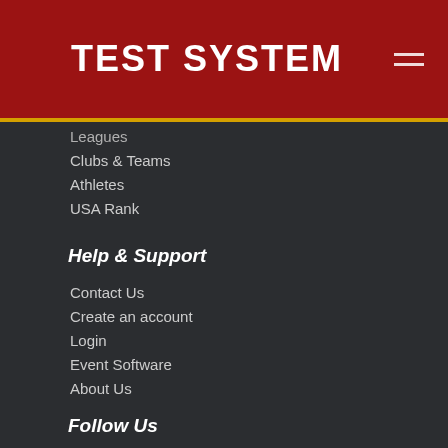TEST SYSTEM
Leagues
Clubs & Teams
Athletes
USA Rank
Help & Support
Contact Us
Create an account
Login
Event Software
About Us
Follow Us
[Figure (logo): Facebook logo icon (blue square with white F)]
[Figure (logo): Twitter logo icon (light blue square with white bird)]
© 2022  |  Privacy Policy